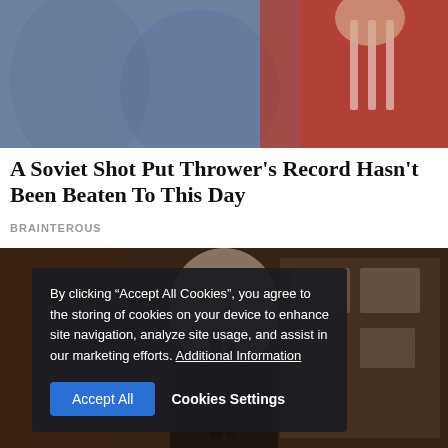[Figure (photo): Person in red Adidas shirt looking down, crowd in background]
A Soviet Shot Putter's Record Hasn't Been Beaten To This Day
BRAINTEROUS
[Figure (photo): Young woman with braided hair in dark jacket, photos on shelves in background]
By clicking “Accept All Cookies”, you agree to the storing of cookies on your device to enhance site navigation, analyze site usage, and assist in our marketing efforts. Additional Information
Accept All    Cookies Settings